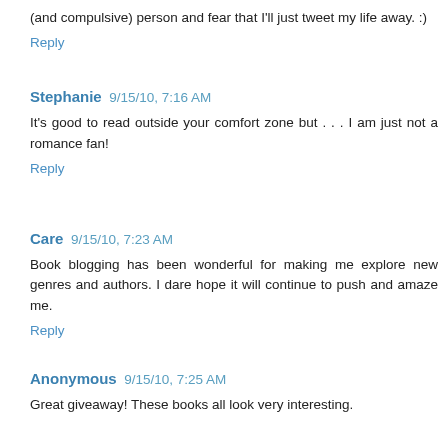(and compulsive) person and fear that I'll just tweet my life away. :)
Reply
Stephanie 9/15/10, 7:16 AM
It's good to read outside your comfort zone but . . . I am just not a romance fan!
Reply
Care 9/15/10, 7:23 AM
Book blogging has been wonderful for making me explore new genres and authors. I dare hope it will continue to push and amaze me.
Reply
Anonymous 9/15/10, 7:25 AM
Great giveaway! These books all look very interesting.